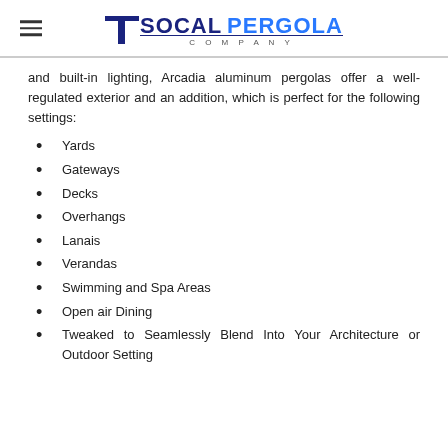SoCal Pergola Company
and built-in lighting, Arcadia aluminum pergolas offer a well-regulated exterior and an addition, which is perfect for the following settings:
Yards
Gateways
Decks
Overhangs
Lanais
Verandas
Swimming and Spa Areas
Open air Dining
Tweaked to Seamlessly Blend Into Your Architecture or Outdoor Setting